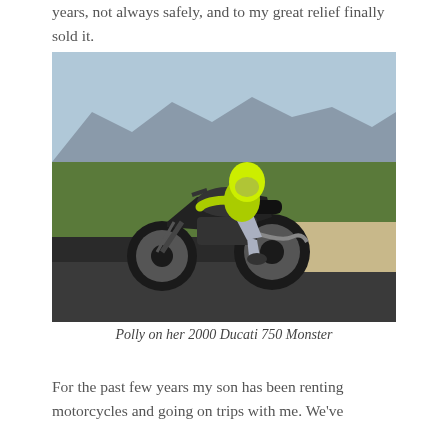years, not always safely, and to my great relief finally sold it.
[Figure (photo): A person wearing a bright yellow-green helmet and jacket riding a black motorcycle (2000 Ducati 750 Monster) on an asphalt road with desert scrub vegetation and mountains in the background.]
Polly on her 2000 Ducati 750 Monster
For the past few years my son has been renting motorcycles and going on trips with me. We've